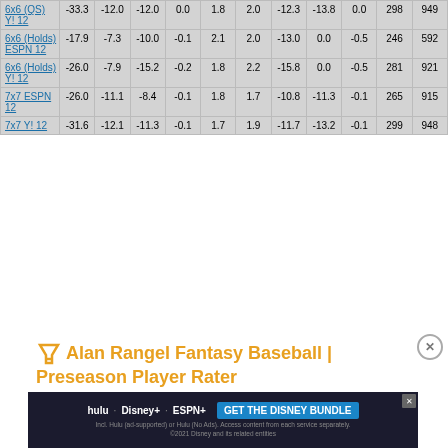| Format | Col1 | Col2 | Col3 | Col4 | Col5 | Col6 | Col7 | Col8 | Col9 | Col10 | Col11 |
| --- | --- | --- | --- | --- | --- | --- | --- | --- | --- | --- | --- |
| 6x6 (QS) Y! 12 | -33.3 | -12.0 | -12.0 | 0.0 | 1.8 | 2.0 | -12.3 | -13.8 | 0.0 | 298 | 949 |
| 6x6 (Holds) ESPN 12 | -17.9 | -7.3 | -10.0 | -0.1 | 2.1 | 2.0 | -13.0 | 0.0 | -0.5 | 246 | 592 |
| 6x6 (Holds) Y! 12 | -26.0 | -7.9 | -15.2 | -0.2 | 1.8 | 2.2 | -15.8 | 0.0 | -0.5 | 281 | 921 |
| 7x7 ESPN 12 | -26.0 | -11.1 | -8.4 | -0.1 | 1.8 | 1.7 | -10.8 | -11.3 | -0.1 | 265 | 915 |
| 7x7 Y! 12 | -31.6 | -12.1 | -11.3 | -0.1 | 1.7 | 1.9 | -11.7 | -13.2 | -0.1 | 299 | 948 |
Alan Rangel Fantasy Baseball | Preseason Player Rater
[Figure (screenshot): Disney Bundle advertisement banner with Hulu, Disney+, ESPN+ logos and GET THE DISNEY BUNDLE CTA button]